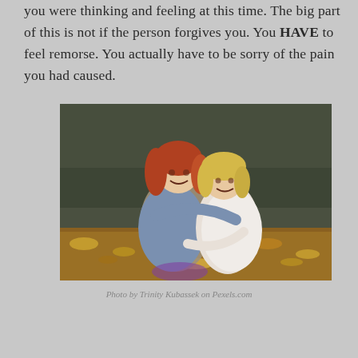you were thinking and feeling at this time. The big part of this is not if the person forgives you. You HAVE to feel remorse. You actually have to be sorry of the pain you had caused.
[Figure (photo): Two young girls hugging outdoors among autumn leaves, one with red hair wearing a denim jacket, the other with blonde hair wearing a white fluffy outfit.]
Photo by Trinity Kubassek on Pexels.com